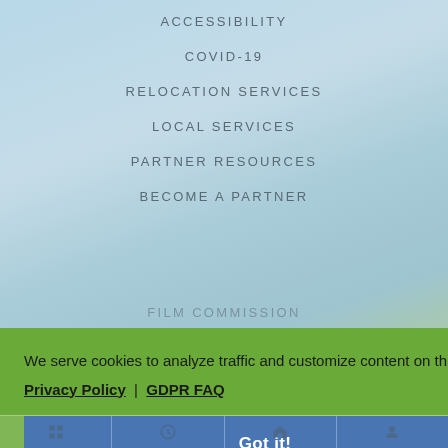ACCESSIBILITY
COVID-19
RELOCATION SERVICES
LOCAL SERVICES
PARTNER RESOURCES
BECOME A PARTNER
FILM COMMISSION
We serve cookies to analyze traffic and customize content on this site. Privacy Policy | GDPR FAQ
Got it!